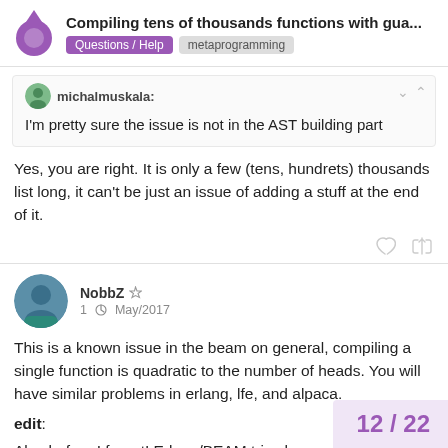Compiling tens of thousands functions with gua... | Questions / Help | metaprogramming
michalmuskala: I'm pretty sure the issue is not in the AST building part
Yes, you are right. It is only a few (tens, hundrets) thousands list long, it can't be just an issue of adding a stuff at the end of it.
NobbZ  1  May/2017
This is a known issue in the beam on general, compiling a single function is quadratic to the number of heads. You will have similar problems in erlang, lfe, and alpaca.
edit:
Also before I forget! Erlang/BEAM tries ha
12 / 22